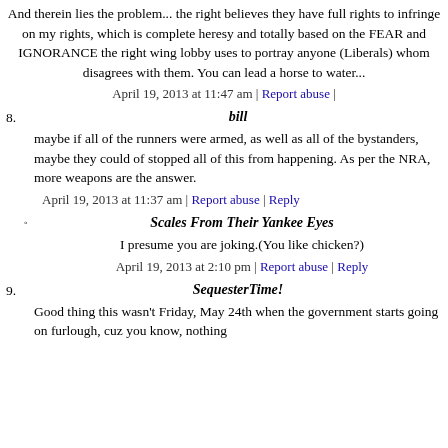And therein lies the problem... the right believes they have full rights to infringe on my rights, which is complete heresy and totally based on the FEAR and IGNORANCE the right wing lobby uses to portray anyone (Liberals) whom disagrees with them. You can lead a horse to water...
April 19, 2013 at 11:47 am | Report abuse |
8. bill
maybe if all of the runners were armed, as well as all of the bystanders, maybe they could of stopped all of this from happening. As per the NRA, more weapons are the answer.
April 19, 2013 at 11:37 am | Report abuse | Reply
Scales From Their Yankee Eyes
I presume you are joking.(You like chicken?)
April 19, 2013 at 2:10 pm | Report abuse | Reply
9. SequesterTime!
Good thing this wasn't Friday, May 24th when the government starts going on furlough, cuz you know, nothing